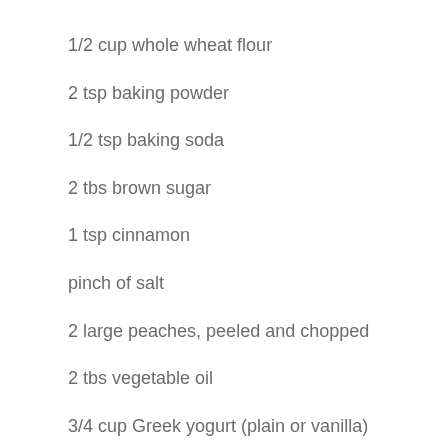1/2 cup whole wheat flour
2 tsp baking powder
1/2 tsp baking soda
2 tbs brown sugar
1 tsp cinnamon
pinch of salt
2 large peaches, peeled and chopped
2 tbs vegetable oil
3/4 cup Greek yogurt (plain or vanilla)